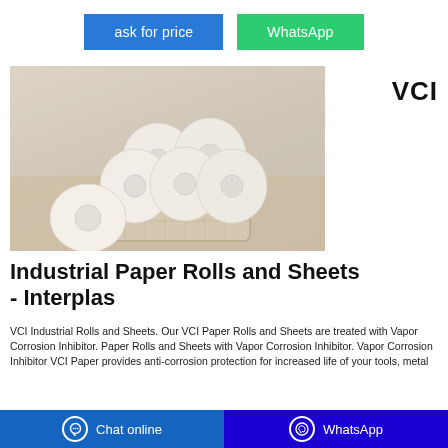ask for price
WhatsApp
[Figure (photo): Multiple white toilet/industrial paper rolls arranged in and around a wicker basket on a wooden surface.]
VCI
Industrial Paper Rolls and Sheets - Interplas
VCI Industrial Rolls and Sheets. Our VCI Paper Rolls and Sheets are treated with Vapor Corrosion Inhibitor. Paper Rolls and Sheets with Vapor Corrosion Inhibitor. Vapor Corrosion Inhibitor VCI Paper provides anti-corrosion protection for increased life of your tools, metal
Chat online
WhatsApp